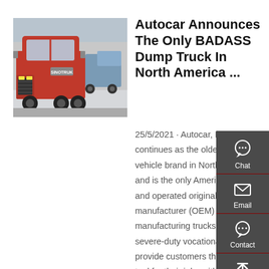[Figure (photo): Red semi truck / dump truck cab-over parked in a lot with other trucks visible in background, industrial setting]
Autocar Announces The Only BADASS Dump Truck In North America ...
25/5/2021 · Autocar, LLC proudly continues as the oldest surviving vehicle brand in North America and is the only American-owned and operated original equipment manufacturer (OEM) manufacturing trucks. Autocar's severe-duty vocational trucks provide customers the perfect tool for their jobs with the most